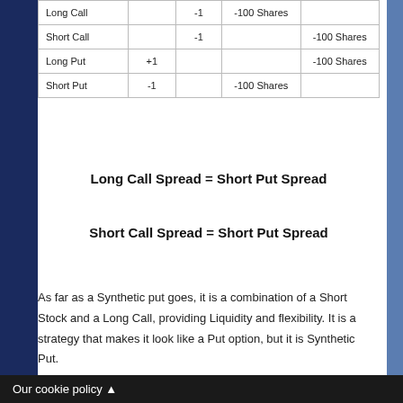|  |  |  |  |  |
| --- | --- | --- | --- | --- |
| Long Call |  | -1 | -100 Shares |  |
| Short Call |  | -1 |  | -100 Shares |
| Long Put | +1 |  |  | -100 Shares |
| Short Put | -1 |  | -100 Shares |  |
Long Call Spread = Short Put Spread
Short Call Spread = Short Put Spread
As far as a Synthetic put goes, it is a combination of a Short Stock and a Long Call, providing Liquidity and flexibility. It is a strategy that makes it look like a Put option, but it is Synthetic Put.
Our cookie policy ▲